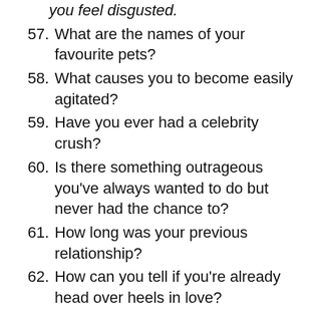57. What are the names of your favourite pets?
58. What causes you to become easily agitated?
59. Have you ever had a celebrity crush?
60. Is there something outrageous you've always wanted to do but never had the chance to?
61. How long was your previous relationship?
62. How can you tell if you're already head over heels in love?
63. To you, what does a good and healthy relationship entail?
64. What is the best piece of relationship